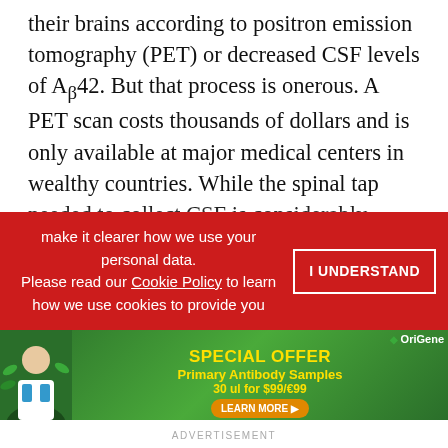their brains according to positron emission tomography (PET) or decreased CSF levels of Aβ42. But that process is onerous. A PET scan costs thousands of dollars and is only available at major medical centers in wealthy countries. While the spinal tap needed to collect CSF is considerably cheaper, the procedure can sometimes cause complications such as headaches, and isn't common at US doctors' offices. A well-validated blood test would make the entire process of real screening… and more… cheaper and more accessible.
make it clearer how we use your personal data.
Please read our Cookie Policy to learn how we use cookies to provide you
[Figure (other): Advertisement banner for OriGene: Special Offer Primary Antibody Samples 30 ul for $99/€99 with Learn More button and a doctor figure on green background]
ADVERTISEMENT